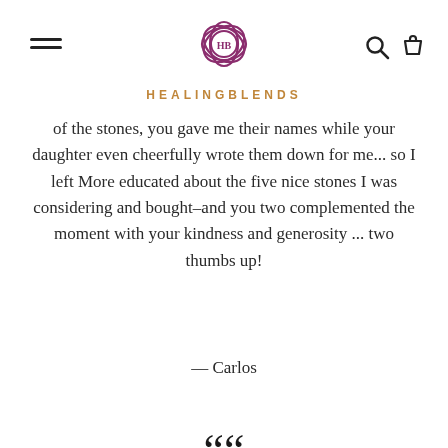HEALINGBLENDS
of the stones, you gave me their names while your daughter even cheerfully wrote them down for me... so I left More educated about the five nice stones I was considering and bought–and you two complemented the moment with your kindness and generosity ... two thumbs up!
— Carlos
[Figure (other): Large opening quotation marks decorative element]
Great little shop with a very nice selection of incense, oils , crystals, beads and more...
— Alina S.